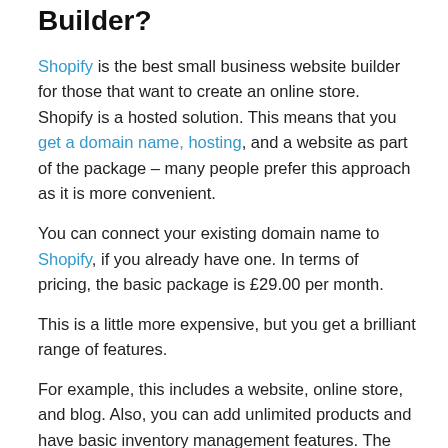Builder?
Shopify is the best small business website builder for those that want to create an online store. Shopify is a hosted solution. This means that you get a domain name, hosting, and a website as part of the package – many people prefer this approach as it is more convenient.
You can connect your existing domain name to Shopify, if you already have one. In terms of pricing, the basic package is £29.00 per month.
This is a little more expensive, but you get a brilliant range of features.
For example, this includes a website, online store, and blog. Also, you can add unlimited products and have basic inventory management features. The website builder itself is easy to use and has a simple